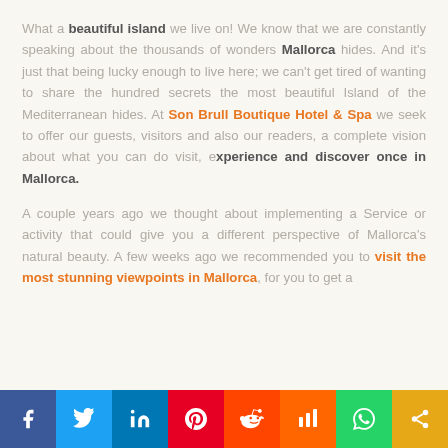What a beautiful island we live on! We know that we are constantly speaking about the thousands of wonders Mallorca hides. And it's just that being lucky enough to live here; we can't get tired of wanting to share the hundred secrets the most beautiful Island of the Mediterranean hides. At Son Brull Boutique Hotel & Spa we seek to offer our guests, visitors and also our readers, a complete vision about what you can do visit, experience and discover once in Mallorca.
A couple years ago we thought about implementing a Service or activity that could give you a different perspective of Mallorca's natural beauty. A few weeks ago we recommended you to visit the most stunning viewpoints in Mallorca, for you to get a